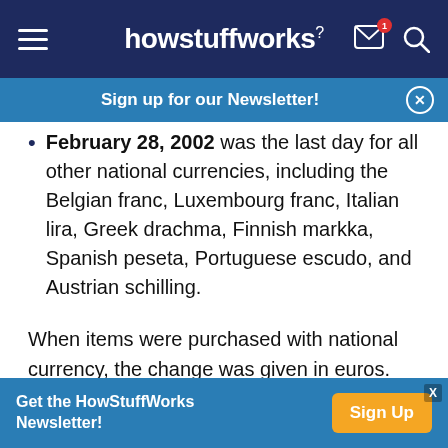howstuffworks
Sign up for our Newsletter!
February 28, 2002 was the last day for all other national currencies, including the Belgian franc, Luxembourg franc, Italian lira, Greek drachma, Finnish markka, Spanish peseta, Portuguese escudo, and Austrian schilling.
When items were purchased with national currency, the change was given in euros. Exchange of cash was also done in banks. Automated teller machines (ATMs) began distributing only euros on January 1, 2002. During the "dual circulation period," until the
Get the HowStuffWorks Newsletter! Sign Up